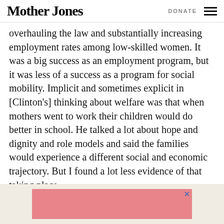Mother Jones   DONATE
overhauling the law and substantially increasing employment rates among low-skilled women. It was a big success as an employment program, but it was less of a success as a program for social mobility. Implicit and sometimes explicit in [Clinton's] thinking about welfare was that when mothers went to work their children would do better in school. He talked a lot about hope and dignity and role models and said the families would experience a different social and economic trajectory. But I found a lot less evidence of that taking place.
[Figure (other): Advertisement banner with pink/red background at the bottom of the page]